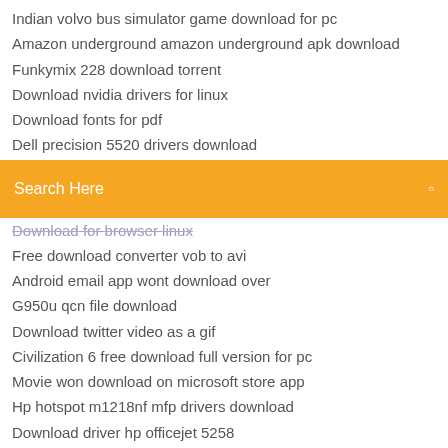Indian volvo bus simulator game download for pc
Amazon underground amazon underground apk download
Funkymix 228 download torrent
Download nvidia drivers for linux
Download fonts for pdf
Dell precision 5520 drivers download
Search Here
Download for browser linux
Free download converter vob to avi
Android email app wont download over
G950u qcn file download
Download twitter video as a gif
Civilization 6 free download full version for pc
Movie won download on microsoft store app
Hp hotspot m1218nf mfp drivers download
Download driver hp officejet 5258
Download metal slug collection torrent
Download file instead of wordpress website